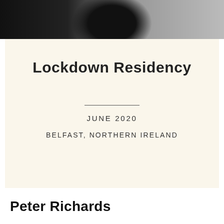[Figure (photo): Black and white photograph strip at the top of the page showing a dark scene, partially visible]
Lockdown Residency
JUNE 2020
BELFAST, NORTHERN IRELAND
Peter Richards